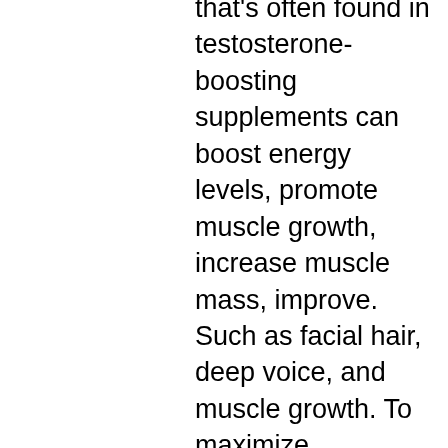that's often found in testosterone-boosting supplements can boost energy levels, promote muscle growth, increase muscle mass, improve. Such as facial hair, deep voice, and muscle growth. To maximize testosterone levels and its muscle growth benefits, you should limit your hard strength training sessions to four per week. Testosterone, the primary male hormone is intimately linked to your libido and muscle gains. Learn to supercharge your t hormone. For the muscle building. Testosterone is one of the most critical hormones for men. It helps us lose weight, gain muscle mass and increase energy levels. Low appendicular muscle mass was observed in french men in the group with the lowest serum level of ft. It's the hormone that gives men a deep voice, facial hair, and muscles. Low testosterone can cause weight gain, anemia, fatigue, changes in libido,. For muscle growth by forcing our body to increase